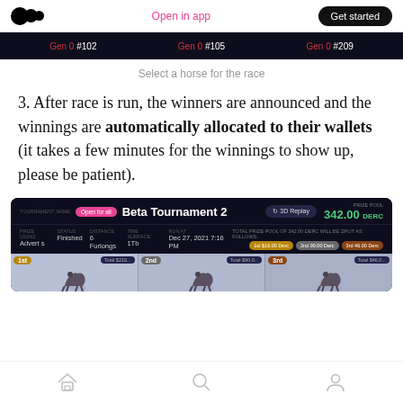Open in app | Get started
[Figure (screenshot): Dark UI showing horse selection bar with Gen 0 #102, Gen 0 #105, Gen 0 #209]
Select a horse for the race
3. After race is run, the winners are announced and the winnings are automatically allocated to their wallets (it takes a few minutes for the winnings to show up, please be patient).
[Figure (screenshot): Dark UI screenshot showing Beta Tournament 2 race results with 3D Replay button, prize of 342.00 DERC, status Finished, 6 Furlongs, 1Tb, Dec 27, 2021 7:16 PM, prize pool split: 1st $16.00 Derc, 2nd $90.00 Derc, 3rd $46.00 Derc, and three horse cards showing 1st, 2nd, 3rd place.]
Home | Search | Profile